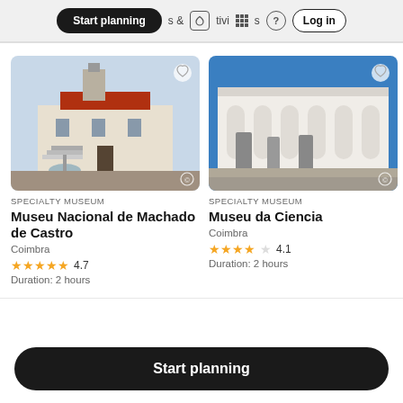Start planning | & activities | ? | Log in
SPECIALTY MUSEUM
Museu Nacional de Machado de Castro
Coimbra
4.7
Duration: 2 hours
SPECIALTY MUSEUM
Museu da Ciencia
Coimbra
4.1
Duration: 2 hours
Start planning